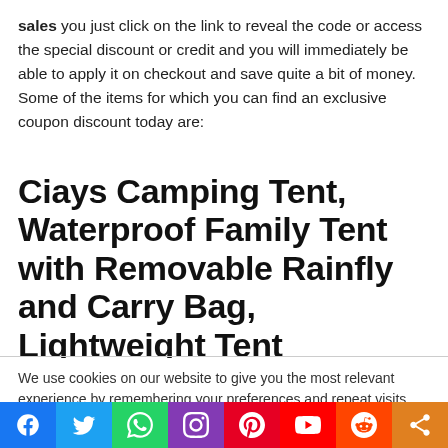sales you just click on the link to reveal the code or access the special discount or credit and you will immediately be able to apply it on checkout and save quite a bit of money. Some of the items for which you can find an exclusive coupon discount today are:
Ciays Camping Tent, Waterproof Family Tent with Removable Rainfly and Carry Bag, Lightweight Tent
We use cookies on our website to give you the most relevant experience by remembering your preferences and repeat visits. By clicking "Accept All", you consent to the use of ALL the cookies. However, you may visit "Cookie Settings" to provide a controlled consent.